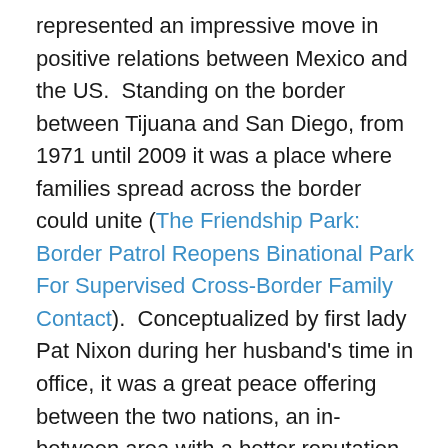represented an impressive move in positive relations between Mexico and the US.  Standing on the border between Tijuana and San Diego, from 1971 until 2009 it was a place where families spread across the border could unite (The Friendship Park: Border Patrol Reopens Binational Park For Supervised Cross-Border Family Contact).  Conceptualized by first lady Pat Nixon during her husband's time in office, it was a great peace offering between the two nations, an in-between area with a better reputation and mission than customary border cities. Although it wasn't necessarily the homiest of environments with border patrol standing guard and cameras monitoring visitors' every move, simply by existing it was a symbol that the US recognized its inherent, unavoidable familial ties to Mexico.